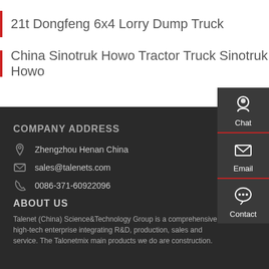21t Dongfeng 6x4 Lorry Dump Truck
China Sinotruk Howo Tractor Truck Sinotruk Howo
COMPANY ADDRESS
Zhengzhou Henan China
sales@talenets.com
0086-371-60922096
ABOUT US
Talenet (China) Science&Technology Group is a comprehensive high-tech enterprise integrating R&D, production, sales and service. The Talonetmix main products we do are construction.